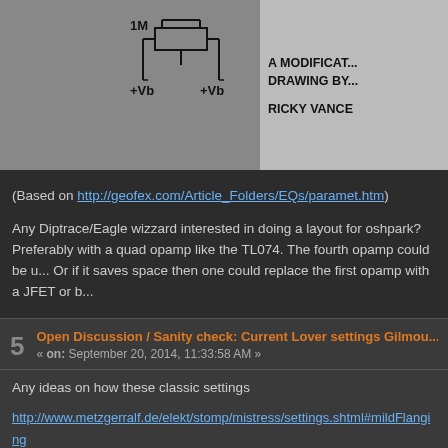[Figure (schematic): Partial circuit schematic with 1M label and +Vb labels, with text 'A MODIFICATION DRAWING BY RICKY VANCE' on the right]
(Based on http://geofex.com/Article_Folders/EQs/paramet.htm)
Any Diptrace/Eagle wizzard interested in doing a layout for oshpark? Preferably with a quad opamp like the TL074. The fourth opamp could be u... Or if it saves space then one could replace the first opamp with a JFET or b...
5  Open Discussion / Sanity check: Current Lover settings Gilmou...
« on: September 20, 2014, 11:33:58 AM »
Any ideas on how these classic settings
http://www.metzgerralf.de/elekt/stomp/mistress/settings.shtml#mildFlanging
http://www.metzgerralf.de/elekt/stomp/mistress/settings.shtml#mediumFlan...
would translate to settings on the Current Lover?
I have to commit: my current lover is populated (I guess more than a year a... calibrate it), I just need to find it in the chaos... I'm tinkering with the idea to... would be all it takes.